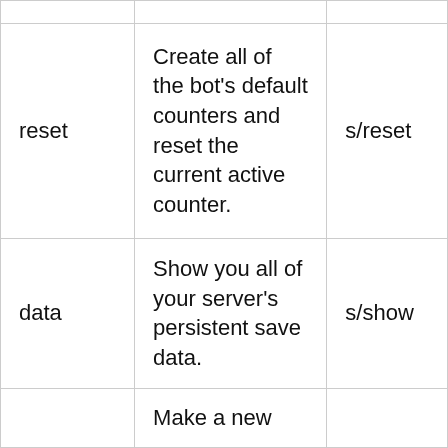|  |  |  |
| reset | Create all of the bot's default counters and reset the current active counter. | s/reset |
| data | Show you all of your server's persistent save data. | s/show |
|  | Make a new |  |